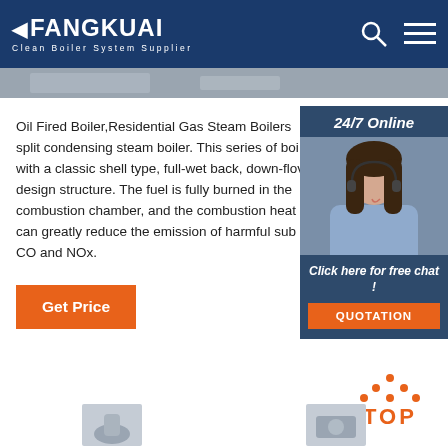FANGKUAI Clean Boiler System Supplier
[Figure (photo): Partial photo strip of industrial boiler equipment]
Oil Fired Boiler,Residential Gas Steam Boilers split condensing steam boiler. This series of boilers with a classic shell type, full-wet back, down-flow design structure. The fuel is fully burned in the combustion chamber, and the combustion heat can greatly reduce the emission of harmful substances CO and NOx.
[Figure (photo): 24/7 Online support widget with woman wearing headset, Click here for free chat! and QUOTATION button]
Get Price
[Figure (logo): TOP badge with orange dots arranged in triangle above the word TOP in orange]
[Figure (photo): Small product images at bottom of page]